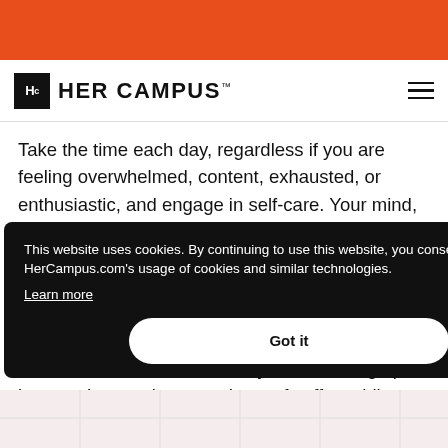HER CAMPUS
Take the time each day, regardless if you are feeling overwhelmed, content, exhausted, or enthusiastic, and engage in self-care. Your mind, body and soul will thank you for even the smallest actions. After all, it’s sometimes the smallest details in life that make all the greatest impacts. It could be choosing to not go to that party and instead stay in to read that book you’ve always wanted to read and relax. Maybe it’s waking up an hour early to make a good cup of coffee while planning out what the rest of the day will bring you.
This website uses cookies. By continuing to use this website, you consent to HerCampus.com’s usage of cookies and similar technologies. Learn more
Got it